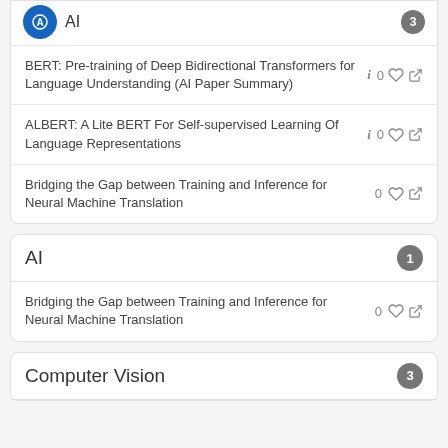BERT: Pre-training of Deep Bidirectional Transformers for Language Understanding (AI Paper Summary)
ALBERT: A Lite BERT For Self-supervised Learning Of Language Representations
Bridging the Gap between Training and Inference for Neural Machine Translation
AI
Bridging the Gap between Training and Inference for Neural Machine Translation
Computer Vision